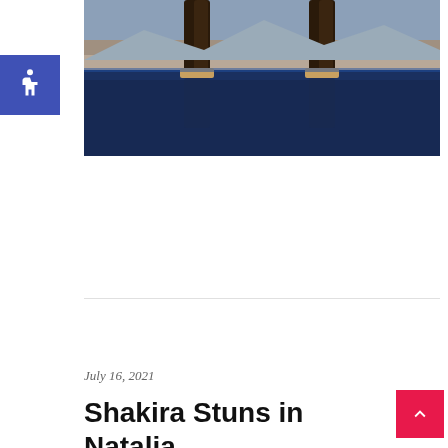[Figure (photo): Cropped photo showing two people's legs standing near an infinity pool with a scenic desert/mountain backdrop and blue water reflections]
July 16, 2021
Shakira Stuns in Natalia